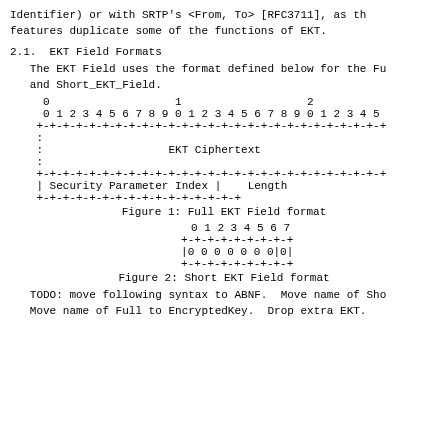Identifier) or with SRTP's <From, To> [RFC3711], as th
features duplicate some of the functions of EKT.
2.1.  EKT Field Formats
The EKT Field uses the format defined below for the Fu
and Short_EKT_Field.
[Figure (schematic): Full EKT Field format diagram showing bit layout with EKT Ciphertext field and Security Parameter Index | Length row]
Figure 1: Full EKT Field format
[Figure (schematic): Short EKT Field format diagram showing 0-7 bit layout with |0 0 0 0 0 0 0|0|]
Figure 2: Short EKT Field format
TODO: move following syntax to ABNF.  Move name of Sho
Move name of Full to EncryptedKey.  Drop extra EKT.